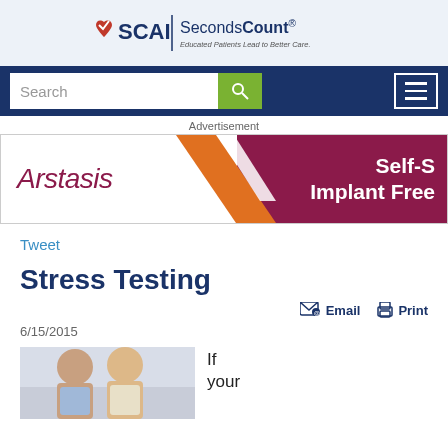SCAI | SecondsCount — Educated Patients Lead to Better Care.
[Figure (screenshot): Navigation bar with search box and hamburger menu on dark blue background]
Advertisement
[Figure (logo): Arstasis advertisement banner with text: Self-S... Implant Free...]
Tweet
Stress Testing
Email  Print
6/15/2015
[Figure (photo): Photo of two people, appears to be medical professionals or patients]
If your